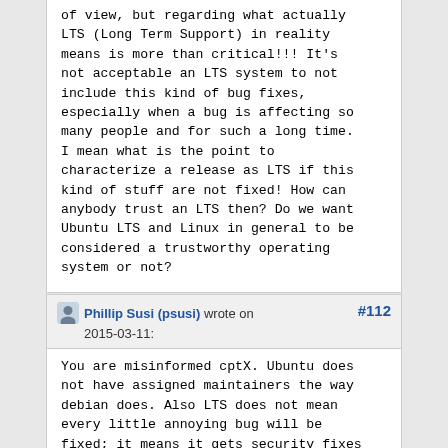of view, but regarding what actually LTS (Long Term Support) in reality means is more than critical!!! It's not acceptable an LTS system to not include this kind of bug fixes, especially when a bug is affecting so many people and for such a long time. I mean what is the point to characterize a release as LTS if this kind of stuff are not fixed! How can anybody trust an LTS then? Do we want Ubuntu LTS and Linux in general to be considered a trustworthy operating system or not?
Phillip Susi (psusi) wrote on 2015-03-11:  #112
You are misinformed cptX. Ubuntu does not have assigned maintainers the way debian does. Also LTS does not mean every little annoying bug will be fixed; it means it gets security fixes so your system won't be vulnerable.